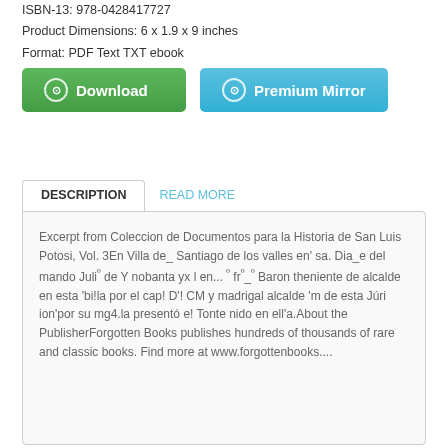ISBN-13: 978-0428417727
Product Dimensions: 6 x 1.9 x 9 inches
Format: PDF Text TXT ebook
[Figure (other): Download button (green) and Premium Mirror button (teal/blue)]
DESCRIPTION
READ MORE
Excerpt from Coleccion de Documentos para la Historia de San Luis Potosi, Vol. 3En Villa de_ Santiago de los valles en' sa. Dia_e del mando Juliº de Y nobanta yx l en... º frº_º Baron theniente de alcalde en esta 'bi!la por el cap! D'! CM y madrigal alcalde 'm de esta Júri ion'por su mg4.la presentó e! Tonte nido en ell'a.About the PublisherForgotten Books publishes hundreds of thousands of rare and classic books. Find more at www.forgottenbooks....